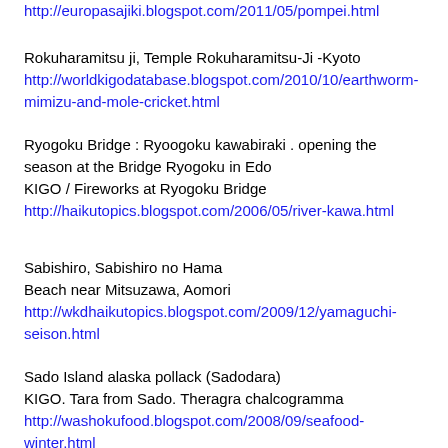http://europasajiki.blogspot.com/2011/05/pompei.html
Rokuharamitsu ji, Temple Rokuharamitsu-Ji -Kyoto
http://worldkigodatabase.blogspot.com/2010/10/earthworm-mimizu-and-mole-cricket.html
Ryogoku Bridge : Ryoogoku kawabiraki . opening the season at the Bridge Ryogoku in Edo
KIGO / Fireworks at Ryogoku Bridge
http://haikutopics.blogspot.com/2006/05/river-kawa.html
Sabishiro, Sabishiro no Hama
Beach near Mitsuzawa, Aomori
http://wkdhaikutopics.blogspot.com/2009/12/yamaguchi-seison.html
Sado Island alaska pollack (Sadodara)
KIGO. Tara from Sado. Theragra chalcogramma
http://washokufood.blogspot.com/2008/09/seafood-winter.html